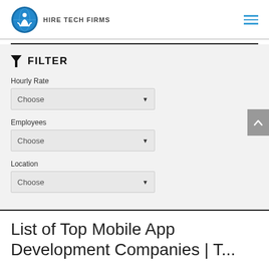HIRE TECH FIRMS
FILTER
Hourly Rate
Choose
Employees
Choose
Location
Choose
List of Top Mobile App Development Companies | To...